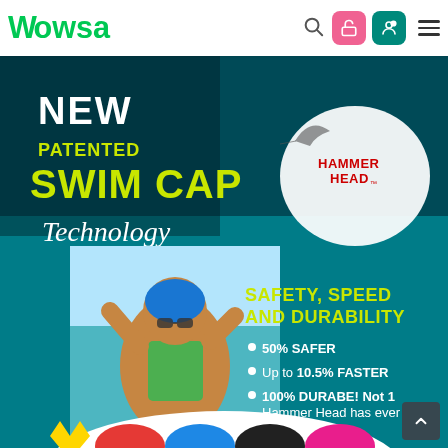Wowsa — navigation bar with logo, search, lock icon, user icon, and hamburger menu
[Figure (photo): Hammer Head Swim Cap product advertisement image. Shows text: NEW PATENTED SWIM CAP Technology (with Hammer Head logo top right). Lower half shows swimmer child wearing a blue swim cap at a beach, with text: SAFETY, SPEED AND DURABILITY • 50% SAFER • Up to 10.5% FASTER • 100% DURABE! Not 1 Hammer Head has ever torn! Bottom shows colorful swim caps (red, blue, black, pink).]